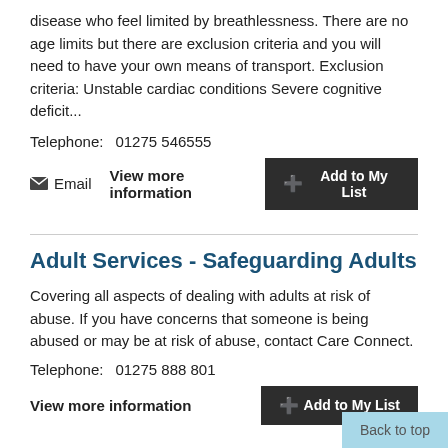disease who feel limited by breathlessness. There are no age limits but there are exclusion criteria and you will need to have your own means of transport. Exclusion criteria: Unstable cardiac conditions Severe cognitive deficit...
Telephone:    01275 546555
Email   View more information   +Add to My List
Adult Services - Safeguarding Adults
Covering all aspects of dealing with adults at risk of abuse. If you have concerns that someone is being abused or may be at risk of abuse, contact Care Connect.
Telephone:    01275 888 801
View more information   +Add to My List
Back to top